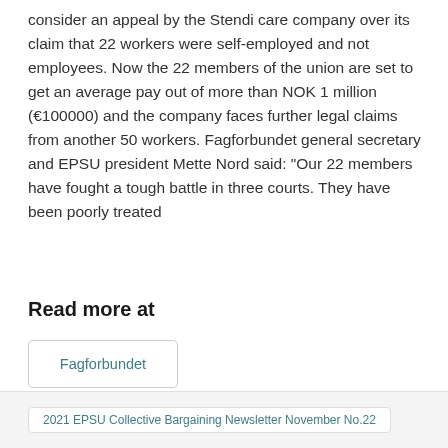consider an appeal by the Stendi care company over its claim that 22 workers were self-employed and not employees. Now the 22 members of the union are set to get an average pay out of more than NOK 1 million (€100000) and the company faces further legal claims from another 50 workers. Fagforbundet general secretary and EPSU president Mette Nord said: "Our 22 members have fought a tough battle in three courts. They have been poorly treated
Read more at
Fagforbundet
2021 EPSU Collective Bargaining Newsletter November No.22